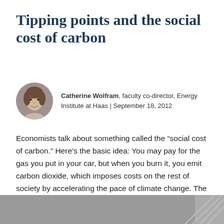Tipping points and the social cost of carbon
Catherine Wolfram, faculty co-director, Energy Institute at Haas | September 18, 2012
Economists talk about something called the “social cost of carbon.” Here’s the basic idea: You may pay for the gas you put in your car, but when you burn it, you emit carbon dioxide, which imposes costs on the rest of society by accelerating the pace of climate change. The social cost of carbon, measured ... Continue reading »